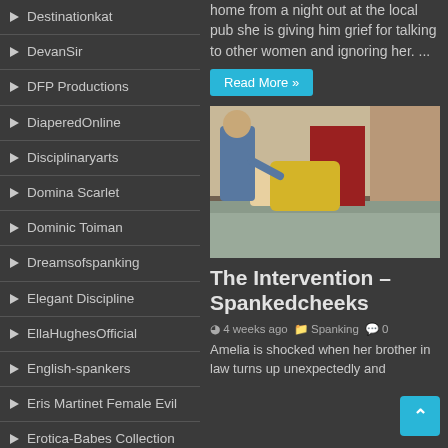Destinationkat
DevanSir
DFP Productions
DiaperedOnline
Disciplinaryarts
Domina Scarlet
Dominic Toiman
Dreamsofspanking
Elegant Discipline
EllaHughesOfficial
English-spankers
Eris Martinet Female Evil
Erotica-Babes Collection
Fetish Fantasy Clips
home from a night out at the local pub she is giving him grief for talking to other women and ignoring her. ...
Read More »
[Figure (photo): Person bent over a couch being spanked]
The Intervention – Spankedcheeks
4 weeks ago   Spanking   0
Amelia is shocked when her brother in law turns up unexpectedly and